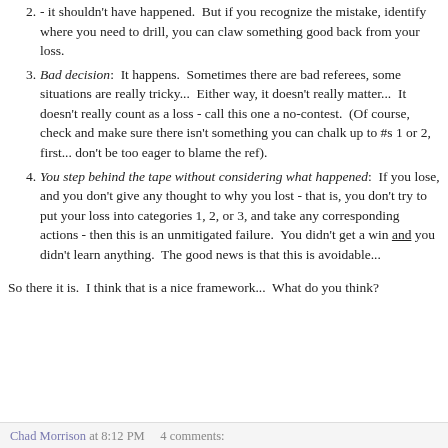2. You made a mistake: That happens, too! No excuses - it shouldn't have happened. But if you recognize the mistake, identify where you need to drill, you can claw something good back from your loss.
3. Bad decision: It happens. Sometimes there are bad referees, some situations are really tricky... Either way, it doesn't really matter... It doesn't really count as a loss - call this one a no-contest. (Of course, check and make sure there isn't something you can chalk up to #s 1 or 2, first... don't be too eager to blame the ref).
4. You step behind the tape without considering what happened: If you lose, and you don't give any thought to why you lost - that is, you don't try to put your loss into categories 1, 2, or 3, and take any corresponding actions - then this is an unmitigated failure. You didn't get a win and you didn't learn anything. The good news is that this is avoidable...
So there it is. I think that is a nice framework... What do you think?
Chad Morrison at 8:12 PM    4 comments: